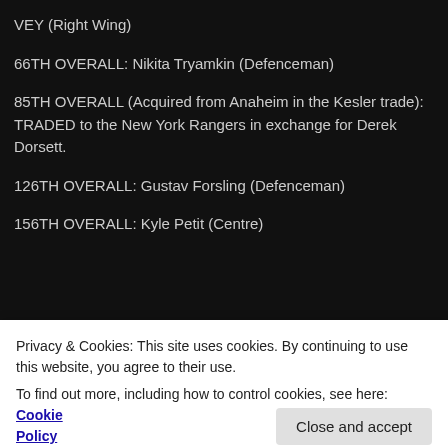VEY (Right Wing)
66TH OVERALL: Nikita Tryamkin (Defenceman)
85TH OVERALL (Acquired from Anaheim in the Kesler trade): TRADED to the New York Rangers in exchange for Derek Dorsett.
126TH OVERALL: Gustav Forsling (Defenceman)
156TH OVERALL: Kyle Petit (Centre)
[Figure (logo): GET THE APP banner with WordPress logo icon]
Privacy & Cookies: This site uses cookies. By continuing to use this website, you agree to their use.
To find out more, including how to control cookies, see here: Cookie Policy